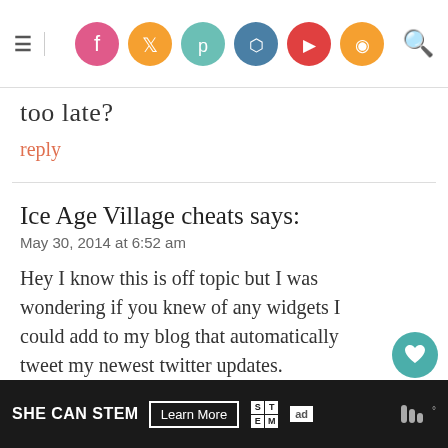Social media icons navigation header with hamburger menu and search icon
too late?
reply
Ice Age Village cheats says:
May 30, 2014 at 6:52 am
Hey I know this is off topic but I was wondering if you knew of any widgets I could add to my blog that automatically tweet my newest twitter updates. I've been looking for a plug-in like this for quite some time and was hoping to maybe you could have like this.
[Figure (infographic): SHE CAN STEM advertisement banner with Learn More button, STEM letter boxes, Ad Council logo]
[Figure (infographic): What's Next widget showing The Ultimate Blog Party...]